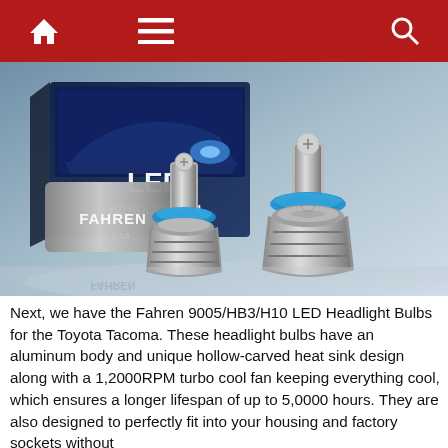Navigation bar with home, menu, and search icons
[Figure (photo): Fahren 9005/HB3/H10 LED Headlight Bulbs product photo showing two silver aluminum LED headlight bulbs with blue rings and a product box with LED Headlight Kit branding in the background]
Next, we have the Fahren 9005/HB3/H10 LED Headlight Bulbs for the Toyota Tacoma. These headlight bulbs have an aluminum body and unique hollow-carved heat sink design along with a 1,2000RPM turbo cool fan keeping everything cool, which ensures a longer lifespan of up to 5,0000 hours. They are also designed to perfectly fit into your housing and factory sockets without any modification.